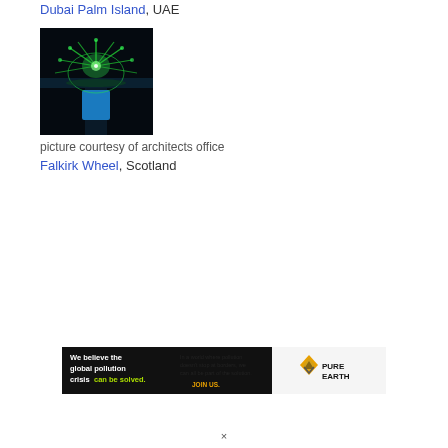Dubai Palm Island, UAE
[Figure (photo): Night aerial architectural rendering of Dubai Palm Island showing glowing green palm fronds and blue base structure]
picture courtesy of architects office
Falkirk Wheel, Scotland
[Figure (infographic): Pure Earth advertisement banner: 'We believe the global pollution crisis can be solved. In a world where pollution doesn't stop at borders, we can all be part of the solution. JOIN US.' with Pure Earth logo]